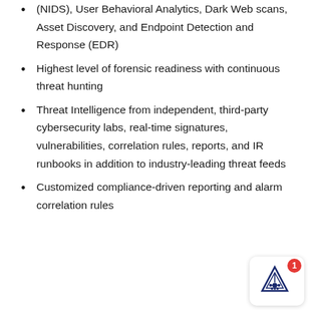(NIDS), User Behavioral Analytics, Dark Web scans, Asset Discovery, and Endpoint Detection and Response (EDR)
Highest level of forensic readiness with continuous threat hunting
Threat Intelligence from independent, third-party cybersecurity labs, real-time signatures, vulnerabilities, correlation rules, reports, and IR runbooks in addition to industry-leading threat feeds
Customized compliance-driven reporting and alarm correlation rules
[Figure (logo): Company logo badge with notification count 1 in a red circle, showing a dark blue geometric/tribal style logo mark on white rounded square background]